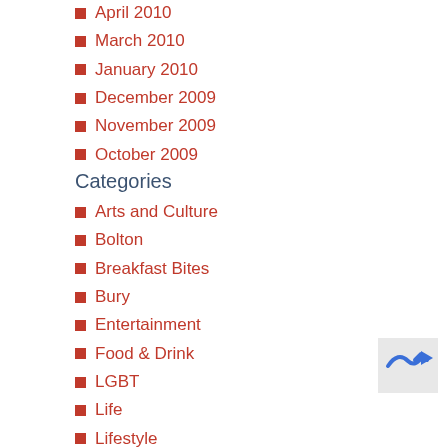April 2010
March 2010
January 2010
December 2009
November 2009
October 2009
Categories
Arts and Culture
Bolton
Breakfast Bites
Bury
Entertainment
Food & Drink
LGBT
Life
Lifestyle
Lunch Munch
[Figure (logo): Blue arrow logo in bottom right corner]